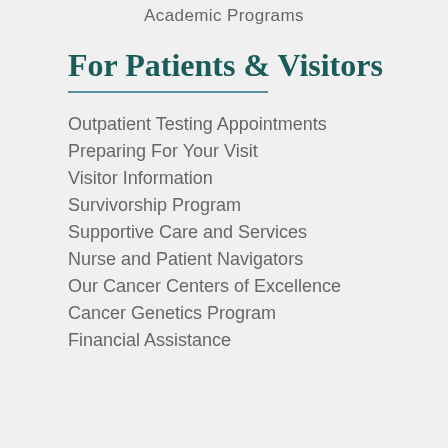Academic Programs
For Patients & Visitors
Outpatient Testing Appointments
Preparing For Your Visit
Visitor Information
Survivorship Program
Supportive Care and Services
Nurse and Patient Navigators
Our Cancer Centers of Excellence
Cancer Genetics Program
Financial Assistance